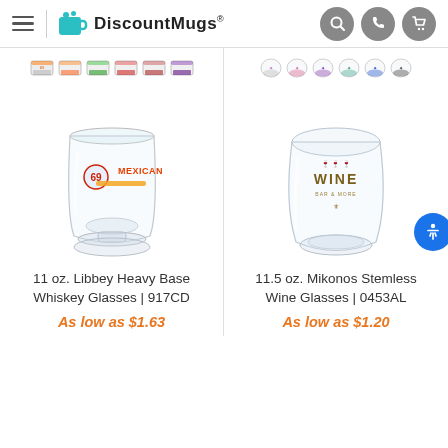DiscountMugs®
[Figure (photo): 11 oz. Libbey Heavy Base Whiskey Glass with Mexican restaurant logo, shown with color variant thumbnails above]
11 oz. Libbey Heavy Base Whiskey Glasses | 917CD
As low as $1.63
[Figure (photo): 11.5 oz. Mikonos Stemless Wine Glass with Wine label logo, shown with color variant thumbnails above]
11.5 oz. Mikonos Stemless Wine Glasses | 0453AL
As low as $1.20